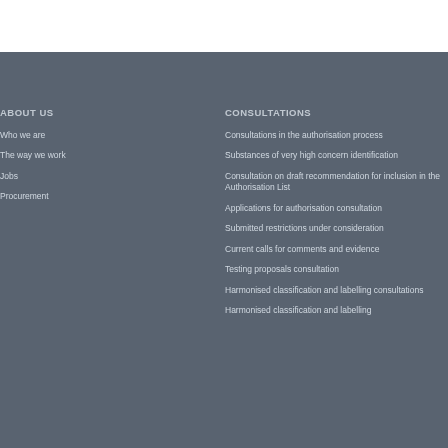ABOUT US
Who we are
The way we work
Jobs
Procurement
CONSULTATIONS
Consultations in the authorisation process
Substances of very high concern identification
Consultation on draft recommendation for inclusion in the Authorisation List
Applications for authorisation consultation
Submitted restrictions under consideration
Current calls for comments and evidence
Testing proposals consultation
Harmonised classification and labelling consultations
Harmonised classification and labelling